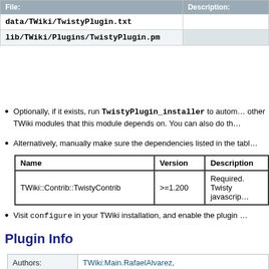| File: | Description: |
| --- | --- |
| data/TWiki/TwistyPlugin.txt |  |
| lib/TWiki/Plugins/TwistyPlugin.pm |  |
Optionally, if it exists, run TwistyPlugin_installer to autom... other TWiki modules that this module depends on. You can also do th...
Alternatively, manually make sure the dependencies listed in the tabl...
| Name | Version | Description |
| --- | --- | --- |
| TWiki::Contrib::TwistyContrib | >=1.200 | Required. Twisty javascrip... |
Visit configure in your TWiki installation, and enable the plugin ...
Plugin Info
|  |  |
| --- | --- |
| Authors: | TWiki:Main.RafaelAlvarez, TWiki:Main.ArthurClemens |
| Copyright ©: | 2005 Rafael Alvarez, 2006 Arthur Clemens |
| License: | GPL |
| Dependencies: | Name | Version | Description
TWiki::Contrib::TwistyContrib | >=1.200 | Required. Twisty javas... |
| 25 Oct 2006 | 1.2 New variables to set default values: TWISTYSHOWLINK, TWISTY... |